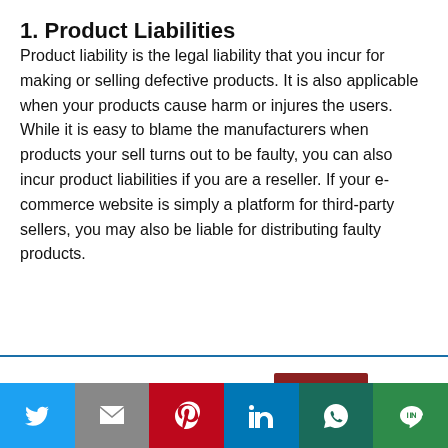1. Product Liabilities
Product liability is the legal liability that you incur for making or selling defective products. It is also applicable when your products cause harm or injures the users. While it is easy to blame the manufacturers when products your sell turns out to be faulty, you can also incur product liabilities if you are a reseller. If your e-commerce website is simply a platform for third-party sellers, you may also be liable for distributing faulty products.
This website uses cookies.
Accept